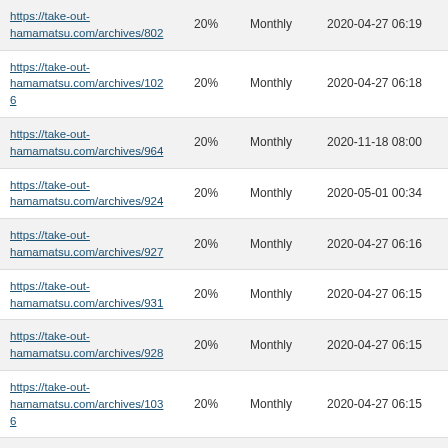| https://take-out-hamamatsu.com/archives/802 | 20% | Monthly | 2020-04-27 06:19 |
| https://take-out-hamamatsu.com/archives/1026 | 20% | Monthly | 2020-04-27 06:18 |
| https://take-out-hamamatsu.com/archives/964 | 20% | Monthly | 2020-11-18 08:00 |
| https://take-out-hamamatsu.com/archives/924 | 20% | Monthly | 2020-05-01 00:34 |
| https://take-out-hamamatsu.com/archives/927 | 20% | Monthly | 2020-04-27 06:16 |
| https://take-out-hamamatsu.com/archives/931 | 20% | Monthly | 2020-04-27 06:15 |
| https://take-out-hamamatsu.com/archives/928 | 20% | Monthly | 2020-04-27 06:15 |
| https://take-out-hamamatsu.com/archives/1036 | 20% | Monthly | 2020-04-27 06:15 |
| https://take-out-hamamatsu.com/archives/961 | 20% | Monthly | 2020-05-14 00:20 |
| https://take-out-hamamatsu.com/archives/966 | 20% | Monthly | 2020-04-27 06:14 |
| https://take-out-hamamatsu.com/archives/962 | 20% | Monthly | 2021-11-30 23:19 |
| https://take-out-hamamatsu.com/archives/965 | 20% | Monthly | 2020-04-27 05:22 |
| https://take-out-hamamatsu.com/archives/??? | 20% | Monthly | 2020-04-27 05:22 |